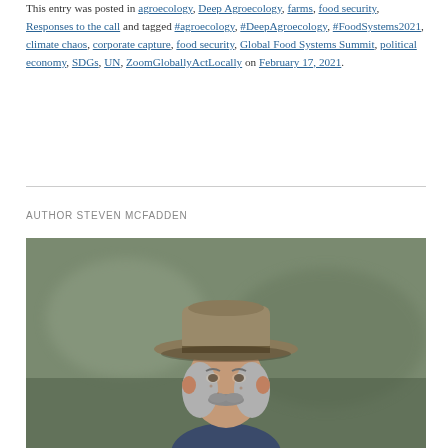This entry was posted in agroecology, Deep Agroecology, farms, food security, Responses to the call and tagged #agroecology, #DeepAgroecology, #FoodSystems2021, climate chaos, corporate capture, food security, Global Food Systems Summit, political economy, SDGs, UN, ZoomGloballyActLocally on February 17, 2021.
AUTHOR STEVEN MCFADDEN
[Figure (photo): Portrait photo of Steven McFadden, a man wearing a wide-brimmed cowboy hat, with grey hair and a grey mustache, photographed outdoors with a blurred background.]